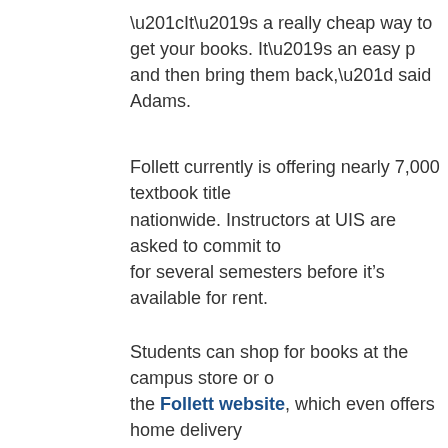“It’s a really cheap way to get your books. It’s an easy p and then bring them back,” said Adams.
Follett currently is offering nearly 7,000 textbook title nationwide. Instructors at UIS are asked to commit to for several semesters before it’s available for rent.
Students can shop for books at the campus store or o the Follett website, which even offers home delivery shipping.
Posted by Blake Wood at Friday, August 20, 2010   No comment
Labels: Graduate, Student Life, Students, Undergraduate, Video
Fifteen new faculty join UIS for fall 201